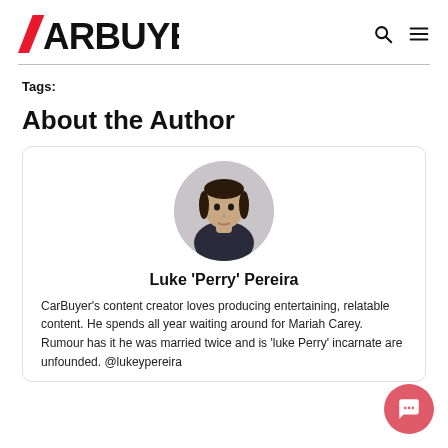CarBuyer
Tags:
About the Author
[Figure (photo): Circular portrait photo of Luke 'Perry' Pereira, a young man in a dark shirt]
Luke 'Perry' Pereira
CarBuyer's content creator loves producing entertaining, relatable content. He spends all year waiting around for Mariah Carey. Rumour has it he was married twice and is 'luke Perry' incarnate are unfounded. @lukeypereira